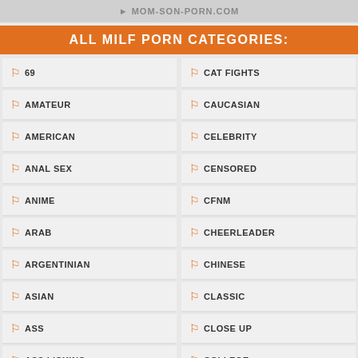MOM-SON-PORN.COM
ALL MILF PORN CATEGORIES:
69
CAT FIGHTS
AMATEUR
CAUCASIAN
AMERICAN
CELEBRITY
ANAL SEX
CENSORED
ANIME
CFNM
ARAB
CHEERLEADER
ARGENTINIAN
CHINESE
ASIAN
CLASSIC
ASS
CLOSE UP
ASS LICKING
COLLEGE
ASS WORSHIP
COMPILATION